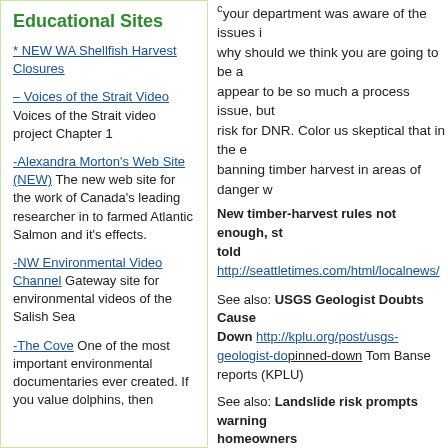Educational Sites
* NEW WA Shellfish Harvest Closures
– Voices of the Strait Video — Voices of the Strait video project Chapter 1
-Alexandra Morton's Web Site (NEW) The new web site for the work of Canada's leading researcher in to farmed Atlantic Salmon and it's effects.
-NW Environmental Video Channel Gateway site for environmental videos of the Salish Sea
-The Cove One of the most important environmental documentaries ever created. If you value dolphins, then
your department was aware of the issues i why should we think you are going to be a appear to be so much a process issue, but risk for DNR. Color us skeptical that in the banning timber harvest in areas of danger w
New timber-harvest rules not enough, st told http://seattletimes.com/html/localnews/
See also: USGS Geologist Doubts Cause Down http://kplu.org/post/usgs-geologist-do pinned-down Tom Banse reports (KPLU)
See also: Landslide risk prompts warning homeowners http://www.vancouversun.com Sinoski reports. (Vancouver Sun)
Share this:
Email  Facebook  Print  Twitter
Like this: